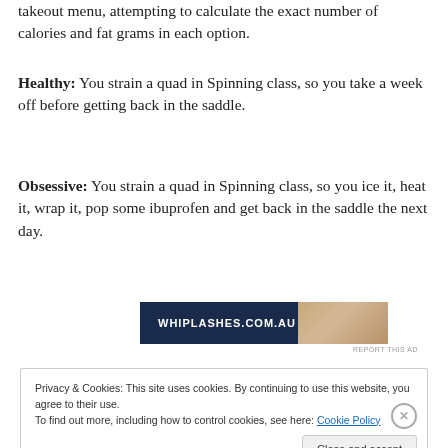takeout menu, attempting to calculate the exact number of calories and fat grams in each option.
Healthy: You strain a quad in Spinning class, so you take a week off before getting back in the saddle.
Obsessive: You strain a quad in Spinning class, so you ice it, heat it, wrap it, pop some ibuprofen and get back in the saddle the next day.
[Figure (screenshot): Advertisement banner with dark navy background and partial image of a person]
REPORT THIS AD
Privacy & Cookies: This site uses cookies. By continuing to use this website, you agree to their use.
To find out more, including how to control cookies, see here: Cookie Policy
Close and accept